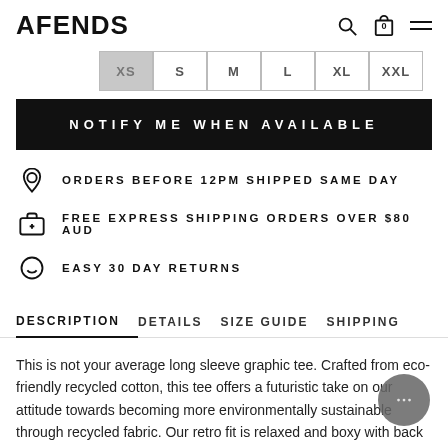AFENDS
XS  S  M  L  XL  XXL
NOTIFY ME WHEN AVAILABLE
ORDERS BEFORE 12PM SHIPPED SAME DAY
FREE EXPRESS SHIPPING ORDERS OVER $80 AUD
EASY 30 DAY RETURNS
DESCRIPTION  DETAILS  SIZE GUIDE  SHIPPING
This is not your average long sleeve graphic tee. Crafted from eco-friendly recycled cotton, this tee offers a futuristic take on our attitude towards becoming more environmentally sustainable through recycled fabric. Our retro fit is relaxed and boxy with back printed graphics to wear on or with a layer.